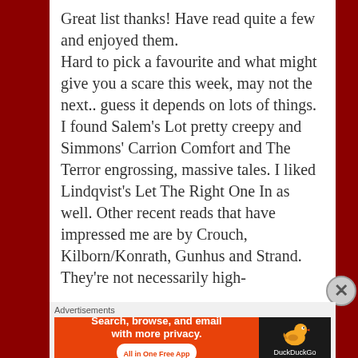Great list thanks! Have read quite a few and enjoyed them. Hard to pick a favourite and what might give you a scare this week, may not the next.. guess it depends on lots of things. I found Salem's Lot pretty creepy and Simmons' Carrion Comfort and The Terror engrossing, massive tales. I liked Lindqvist's Let The Right One In as well. Other recent reads that have impressed me are by Crouch, Kilborn/Konrath, Gunhus and Strand. They're not necessarily high-
Advertisements
[Figure (other): DuckDuckGo advertisement banner: 'Search, browse, and email with more privacy. All in One Free App' with DuckDuckGo logo on dark background]